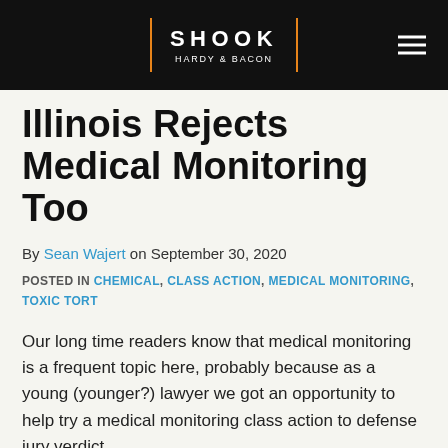SHOOK HARDY & BACON
Illinois Rejects Medical Monitoring Too
By Sean Wajert on September 30, 2020
POSTED IN CHEMICAL, CLASS ACTION, MEDICAL MONITORING, TOXIC TORT
Our long time readers know that medical monitoring is a frequent topic here, probably because as a young (younger?) lawyer we got an opportunity to help try a medical monitoring class action to defense jury verdict.
In the years since then, several states have weighed in on the availability of medical monitoring